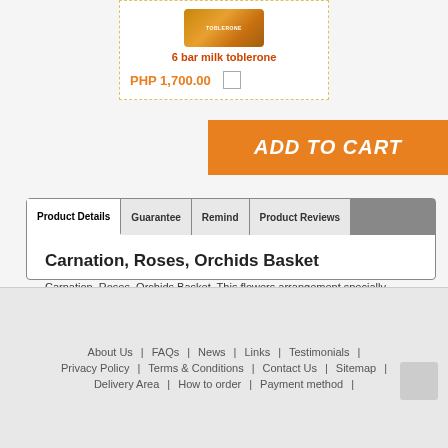[Figure (photo): 6 bar milk toblerone product image]
6 bar milk toblerone
PHP 1,700.00
[Figure (other): ADD TO CART orange button]
Product Details | Guarantee | Remind | Product Reviews
Carnation, Roses, Orchids Basket
Carnation, Roses, Orchids Basket. This flowers arrangement specially design for birthday and anniversary with white roses, pink carnations, orchids and exotic fillers.
About Us | FAQs | News | Links | Testimonials | Privacy Policy | Terms & Conditions | Contact Us | Sitemap | Delivery Area | How to order | Payment method |